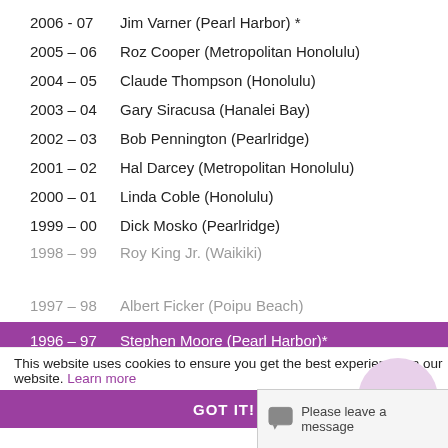2006 - 07    Jim Varner (Pearl Harbor) *
2005 – 06    Roz Cooper (Metropolitan Honolulu)
2004 – 05    Claude Thompson (Honolulu)
2003 – 04    Gary Siracusa (Hanalei Bay)
2002 – 03    Bob Pennington (Pearlridge)
2001 – 02    Hal Darcey (Metropolitan Honolulu)
2000 – 01    Linda Coble (Honolulu)
1999 – 00    Dick Mosko (Pearlridge)
1998 – 99    Roy King Jr. (Waikiki)
1997 – 98    Albert Ficker (Poipu Beach)
1996 – 97    Stephen Moore (Pearl Harbor)*
1995 – 96    Peter Muller
1994 – 95    Eli Mashulam
This website uses cookies to ensure you get the best experience on our website. Learn more
GOT IT!
Please leave a message